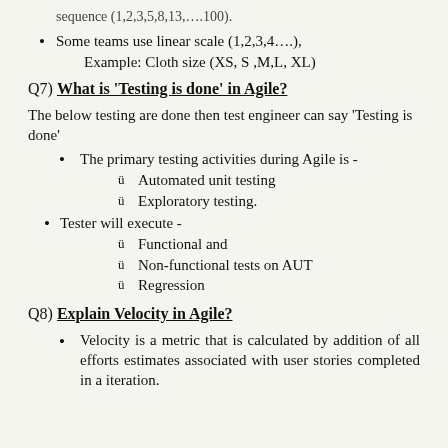sequence (1,2,3,5,8,13,….100).
Some teams use linear scale (1,2,3,4….), Example: Cloth size (XS, S ,M,L, XL)
Q7) What is 'Testing is done' in Agile?
The below testing are done then test engineer can say 'Testing is done'
The primary testing activities during Agile is -
Automated unit testing
Exploratory testing.
Tester will execute -
Functional and
Non-functional tests on AUT
Regression
Q8) Explain Velocity in Agile?
Velocity is a metric that is calculated by addition of all efforts estimates associated with user stories completed in a iteration.